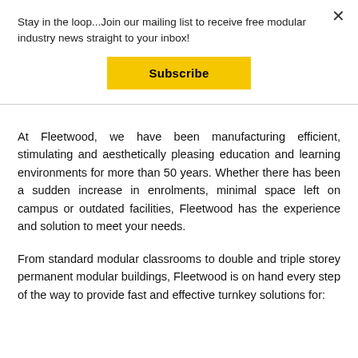Stay in the loop...Join our mailing list to receive free modular industry news straight to your inbox!
[Figure (other): Yellow Subscribe button for mailing list signup]
At Fleetwood, we have been manufacturing efficient, stimulating and aesthetically pleasing education and learning environments for more than 50 years. Whether there has been a sudden increase in enrolments, minimal space left on campus or outdated facilities, Fleetwood has the experience and solution to meet your needs.
From standard modular classrooms to double and triple storey permanent modular buildings, Fleetwood is on hand every step of the way to provide fast and effective turnkey solutions for: